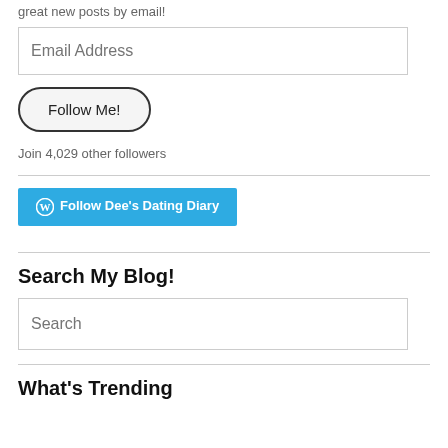great new posts by email!
Email Address
Follow Me!
Join 4,029 other followers
[Figure (screenshot): WordPress Follow Dee's Dating Diary button in blue]
Search My Blog!
Search
What's Trending